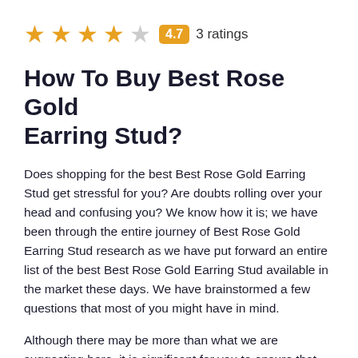[Figure (other): Star rating row: 4 filled gold stars, 1 empty/grey star, a gold badge showing '4.7', and text '3 ratings']
How To Buy Best Rose Gold Earring Stud?
Does shopping for the best Best Rose Gold Earring Stud get stressful for you? Are doubts rolling over your head and confusing you? We know how it is; we have been through the entire journey of Best Rose Gold Earring Stud research as we have put forward an entire list of the best Best Rose Gold Earring Stud available in the market these days. We have brainstormed a few questions that most of you might have in mind.
Although there may be more than what we are suggesting here, it is significant for you to ensure that you conduct exclusive research for this...